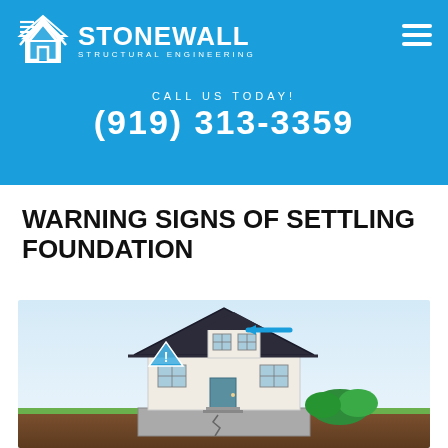[Figure (logo): Stonewall Structural Engineering logo - white house/building icon with STONEWALL text and STRUCTURAL ENGINEERING subtitle on blue background]
CALL US TODAY!
(919) 313-3359
WARNING SIGNS OF SETTLING FOUNDATION
[Figure (illustration): Illustration of a two-story house showing settling foundation warning signs, with a blue arrow pointing left near the roofline, a warning triangle symbol on the roof, green shrubs, and a cross-section of the foundation showing cracks in the ground below]